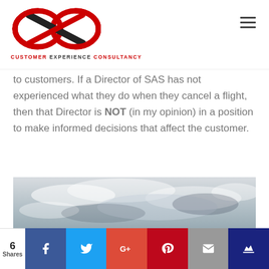[Figure (logo): Customer Experience Consultancy logo — infinity symbol in red and black with text 'CUSTOMER EXPERIENCE CONSULTANCY' below]
to customers. If a Director of SAS has not experienced what they do when they cancel a flight, then that Director is NOT (in my opinion) in a position to make informed decisions that affect the customer.
[Figure (photo): Cloudy sky photograph in black and white]
6 Shares | Facebook | Twitter | Google+ | Pinterest | Email | Crown